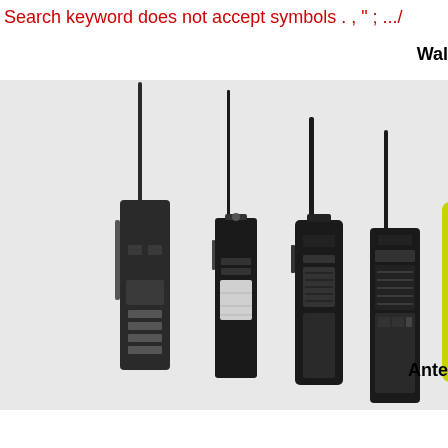Search keyword does not accept symbols . , " ; .../
Wal
[Figure (photo): Five walkie-talkie / handheld two-way radio devices displayed side by side on a light grey background. The radios vary in style — from tall antenna professional models (black) to a compact yellow/green consumer model on the far right with an orange digital display showing '22'.]
Ante